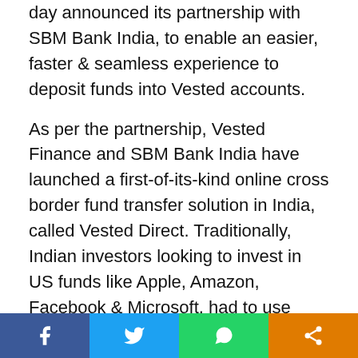day announced its partnership with SBM Bank India, to enable an easier, faster & seamless experience to deposit funds into Vested accounts.
As per the partnership, Vested Finance and SBM Bank India have launched a first-of-its-kind online cross border fund transfer solution in India, called Vested Direct. Traditionally, Indian investors looking to invest in US funds like Apple, Amazon, Facebook & Microsoft, had to use their existing bank accounts to transfer funds. This involved multiple steps and investors had to incur high foreign exchange markups and fixed transfer charges. The transfer would take up to 5 days. With Vested Direct, the process is a significantly better experience with simple steps to initiate a transfer, lower charges, and a faster deposit timeline.
Speaking on the partnership, Viram Shah, Co-Founder &